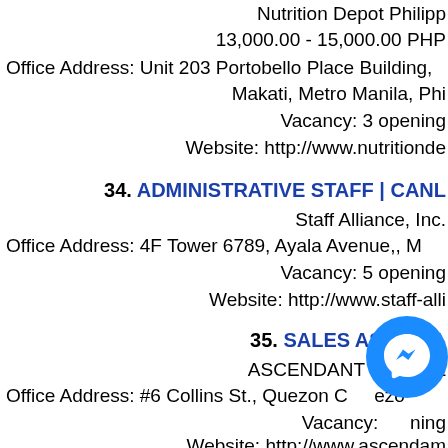Nutrition Depot Philipp
13,000.00 - 15,000.00 PHP
Office Address: Unit 203 Portobello Place Building,
Makati, Metro Manila, Phi
Vacancy: 3 opening
Website: http://www.nutritionde
34. ADMINISTRATIVE STAFF | CANL
Staff Alliance, Inc.
Office Address: 4F Tower 6789, Ayala Avenue,, M
Vacancy: 5 opening
Website: http://www.staff-alli
35. SALES ASSOCIA
ASCENDANT GLOBAL
Office Address: #6 Collins St., Quezon C ezo
Vacancy: ning
Website: http://www.ascendam